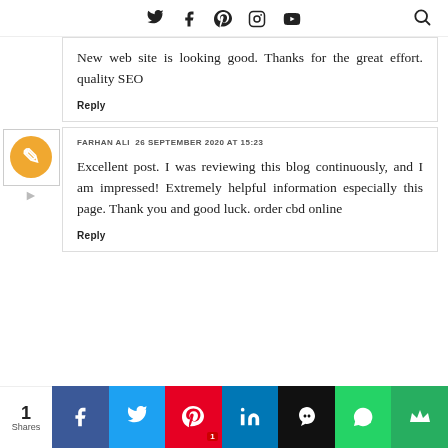Social media icons navigation bar (Twitter, Facebook, Pinterest, Instagram, YouTube) with search icon
New web site is looking good. Thanks for the great effort. quality SEO
Reply
FARHAN ALI 26 SEPTEMBER 2020 AT 15:23
Excellent post. I was reviewing this blog continuously, and I am impressed! Extremely helpful information especially this page. Thank you and good luck. order cbd online
Reply
1 Shares — Share buttons: Facebook, Twitter, Pinterest (1), LinkedIn, Hootsuite, WhatsApp, Crown